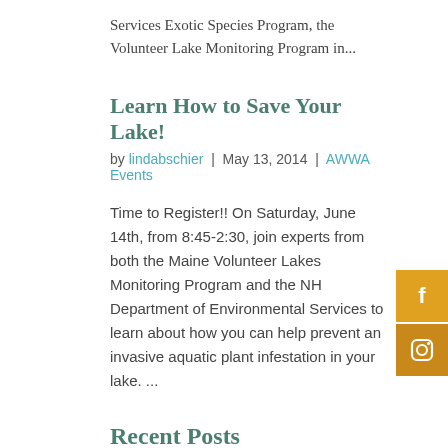Services Exotic Species Program, the Volunteer Lake Monitoring Program in...
Learn How to Save Your Lake!
by lindabschier | May 13, 2014 | AWWA Events
Time to Register!! On Saturday, June 14th, from 8:45-2:30, join experts from both the Maine Volunteer Lakes Monitoring Program and the NH Department of Environmental Services to learn about how you can help prevent an invasive aquatic plant infestation in your lake. ...
Recent Posts
New Hampshire Charitable Foundation Community Grant
2020 Water Quality Reports